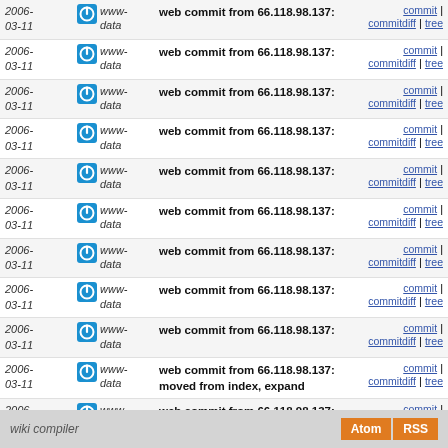| Date | Author | Message | Links |
| --- | --- | --- | --- |
| 2006-03-11 | www-data | web commit from 66.118.98.137: | commit | commitdiff | tree |
| 2006-03-11 | www-data | web commit from 66.118.98.137: | commit | commitdiff | tree |
| 2006-03-11 | www-data | web commit from 66.118.98.137: | commit | commitdiff | tree |
| 2006-03-11 | www-data | web commit from 66.118.98.137: | commit | commitdiff | tree |
| 2006-03-11 | www-data | web commit from 66.118.98.137: | commit | commitdiff | tree |
| 2006-03-11 | www-data | web commit from 66.118.98.137: | commit | commitdiff | tree |
| 2006-03-11 | www-data | web commit from 66.118.98.137: | commit | commitdiff | tree |
| 2006-03-11 | www-data | web commit from 66.118.98.137: | commit | commitdiff | tree |
| 2006-03-11 | www-data | web commit from 66.118.98.137: | commit | commitdiff | tree |
| 2006-03-11 | www-data | web commit from 66.118.98.137: moved from index, expand | commit | commitdiff | tree |
| 2006-03-11 | www-data | web commit from 66.118.98.137: trimming | commit | commitdiff | tree |
wiki compiler  Atom RSS